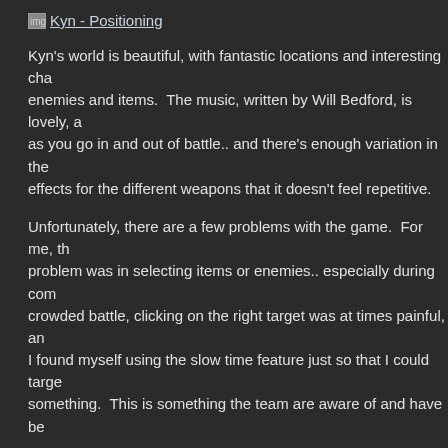Kyn - Positioning
Kyn's world is beautiful, with fantastic locations and interesting cha enemies and items.  The music, written by Will Bedford, is lovely, a as you go in and out of battle.. and there's enough variation in the effects for the different weapons that it doesn't feel repetitive.
Unfortunately, there are a few problems with the game.  For me, th problem was in selecting items or enemies.. especially during com crowded battle, clicking on the right target was at times painful, an I found myself using the slow time feature just so that I could targe something.  This is something the team are aware of and have be
Pathfinding also isn't perfect, and sometimes, characters end up tr shoot through walls, or stop dead behind scenery instead of charg enemy.  Since release I've found it to be less of a problem, but it s from time to time.
As mentioned already, the number of items that you can craft is hu However, this means navigating those items is not a quick task as wade through all existing items to see if there's something suitable characters.  There are seven pages of chest armour, for instance. could really do with a few filters, or the ability to hide items.